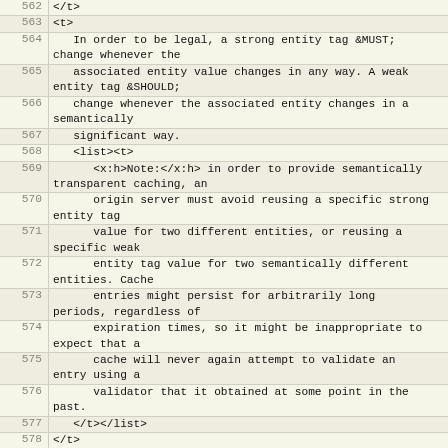| line | code |
| --- | --- |
| 562 | </t> |
| 563 | <t> |
| 564 |    In order to be legal, a strong entity tag &MUST;
change whenever the |
| 565 |    associated entity value changes in any way. A weak
entity tag &SHOULD; |
| 566 |    change whenever the associated entity changes in a
semantically |
| 567 |    significant way. |
| 568 |    <list><t> |
| 569 |       <x:h>Note:</x:h> in order to provide semantically
transparent caching, an |
| 570 |       origin server must avoid reusing a specific strong
entity tag |
| 571 |       value for two different entities, or reusing a
specific weak |
| 572 |       entity tag value for two semantically different
entities. Cache |
| 573 |       entries might persist for arbitrarily long
periods, regardless of |
| 574 |       expiration times, so it might be inappropriate to
expect that a |
| 575 |       cache will never again attempt to validate an
entry using a |
| 576 |       validator that it obtained at some point in the
past. |
| 577 |    </t></list> |
| 578 | </t> |
| 579 | <t> |
| 580 |    HTTP/1.1 clients: |
| 581 |    <list style="symbols"> |
| 582 |       <t>If an entity tag has been provided by the origin
server, &MUST; |
| 583 |       use that entity tag in any cache-conditional
request (using If-Match |